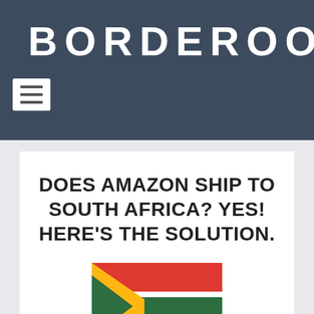BORDEROO
[Figure (logo): Hamburger menu icon (three horizontal lines) on white background]
DOES AMAZON SHIP TO SOUTH AFRICA? YES! HERE'S THE SOLUTION.
[Figure (illustration): South African flag]